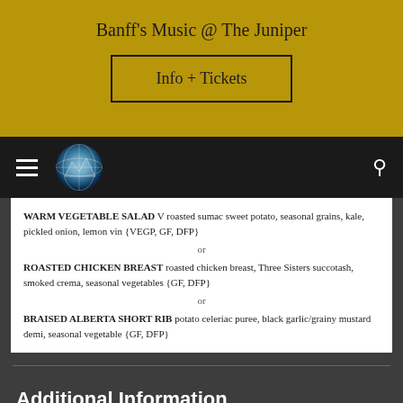Banff's Music @ The Juniper
Info + Tickets
[Figure (logo): Circular logo with mountain/globe imagery in blue tones]
WARM VEGETABLE SALAD V roasted sumac sweet potato, seasonal grains, kale, pickled onion, lemon vin {VEGP, GF, DFP}
or
ROASTED CHICKEN BREAST roasted chicken breast, Three Sisters succotash, smoked crema, seasonal vegetables {GF, DFP}
or
BRAISED ALBERTA SHORT RIB potato celeriac puree, black garlic/grainy mustard demi, seasonal vegetable {GF, DFP}
Additional Information
Ticket purchases: You will receive an e-mail